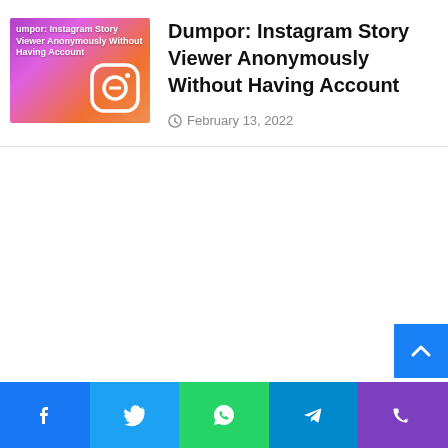[Figure (illustration): Thumbnail image for article about Dumpor Instagram Story Viewer — shows Instagram camera icon on gradient purple-orange background with article title text overlay]
Dumpor: Instagram Story Viewer Anonymously Without Having Account
February 13, 2022
Facebook | Twitter | WhatsApp | Telegram | Phone